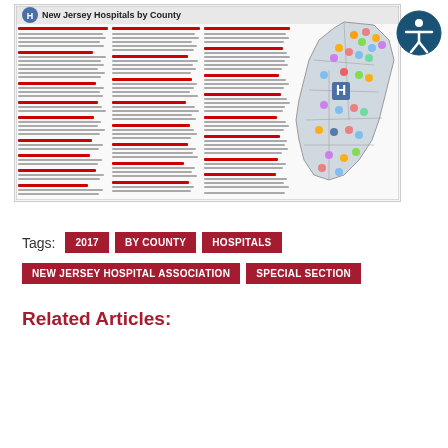[Figure (map): Thumbnail image of New Jersey Hospitals by County map, showing a colored county map of New Jersey with hospital listings by county in columns on the left side, and a hospital location map on the right.]
Tags: 2017  BY COUNTY  HOSPITALS  NEW JERSEY HOSPITAL ASSOCIATION  SPECIAL SECTION
Related Articles: